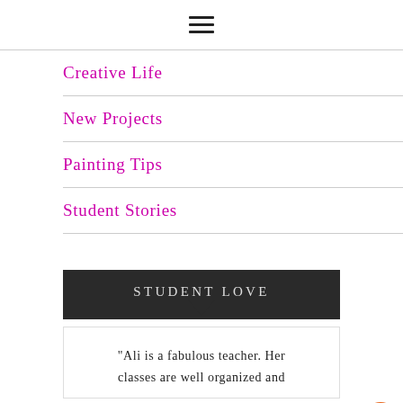[Figure (other): Hamburger menu icon (three horizontal lines) centered at top of page]
Creative Life
New Projects
Painting Tips
Student Stories
STUDENT LOVE
"Ali is a fabulous teacher. Her classes are well organized and
[Figure (other): Orange circular scroll-to-top button with upward chevron arrow]